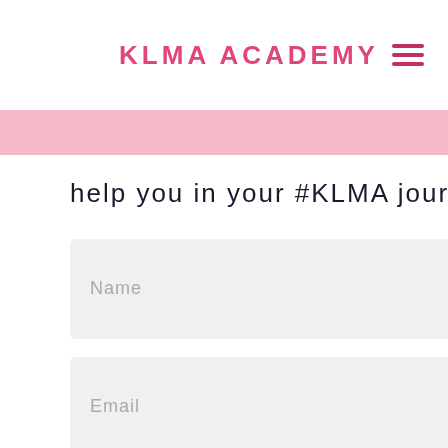KLMA ACADEMY
help you in your #KLMA journey.
[Figure (screenshot): Web form with Name input field, Email input field, and a blue 'Get my Download' button]